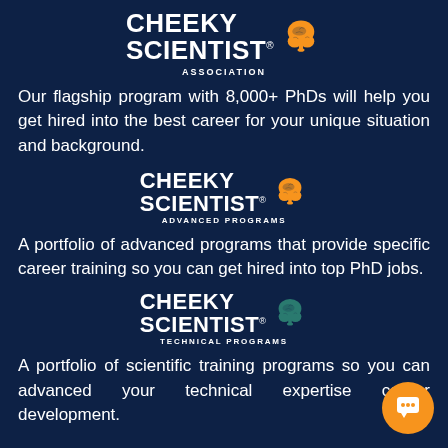[Figure (logo): Cheeky Scientist Association logo with orange brain icon and white bold text reading CHEEKY SCIENTIST with ASSOCIATION subtitle]
Our flagship program with 8,000+ PhDs will help you get hired into the best career for your unique situation and background.
[Figure (logo): Cheeky Scientist Advanced Programs logo with orange brain icon and white bold text reading CHEEKY SCIENTIST with ADVANCED PROGRAMS subtitle]
A portfolio of advanced programs that provide specific career training so you can get hired into top PhD jobs.
[Figure (logo): Cheeky Scientist Technical Programs logo with teal brain icon and white bold text reading CHEEKY SCIENTIST with TECHNICAL PROGRAMS subtitle]
A portfolio of scientific training programs so you can advanced your technical expertise career development.